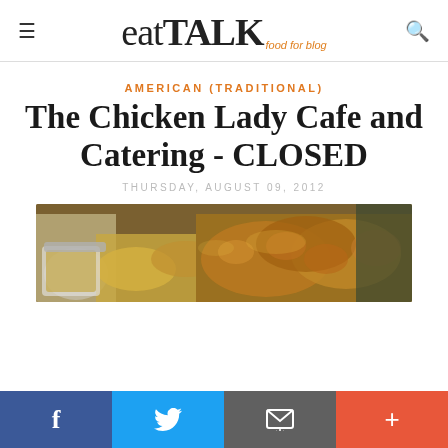eatTALK food for blog
AMERICAN (TRADITIONAL)
The Chicken Lady Cafe and Catering - CLOSED
THURSDAY, AUGUST 09, 2012
[Figure (photo): Close-up photo of fried chicken pieces with potato chunks and a dipping sauce container on the left side, with blurred green background.]
f  Twitter  Email  +